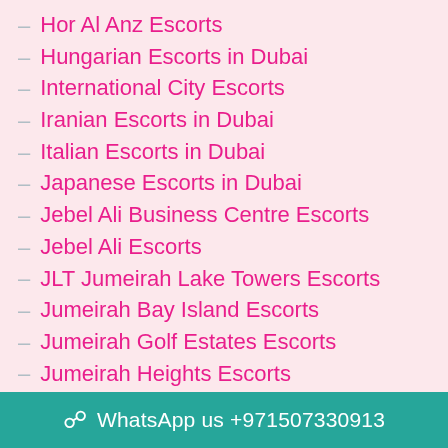Hor Al Anz Escorts
Hungarian Escorts in Dubai
International City Escorts
Iranian Escorts in Dubai
Italian Escorts in Dubai
Japanese Escorts in Dubai
Jebel Ali Business Centre Escorts
Jebel Ali Escorts
JLT Jumeirah Lake Towers Escorts
Jumeirah Bay Island Escorts
Jumeirah Golf Estates Escorts
Jumeirah Heights Escorts
Jumeirah
WhatsApp us +971507330913